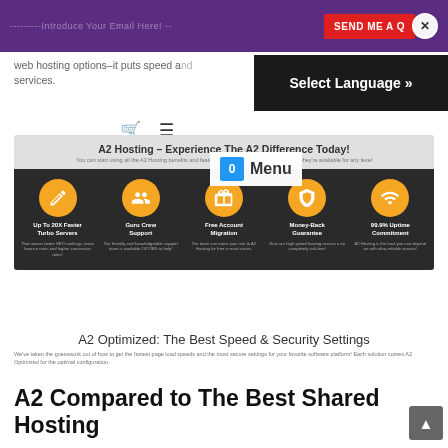---------Introduce Your Email Here! -- SEND ME A Q ✕
web hosting options–it puts speed and services.
Select Language »
[Figure (screenshot): A2 Hosting banner with 5 feature icons: Up To 20X Faster Turbo Servers, Guru Crew Support, Free Account Migration, Money-Back Guarantee, 99.9% Uptime Commitment]
A2 Optimized: The Best Speed & Security Settings
We've taken the guesswork out of how to get the fastest page load speeds and the most secure settings for your favorite software platform! Each solution comes A2 Optimized for the optimal configuration.
A2 Compared to The Best Shared Hosting